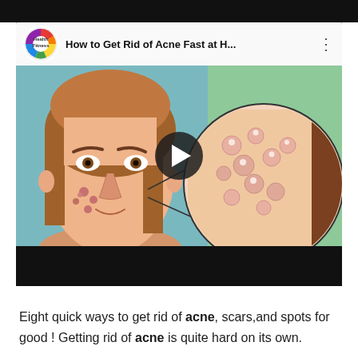[Figure (screenshot): A YouTube-style video thumbnail showing a cartoon illustration of a woman's face with acne/pimples on her cheeks, and a close-up circular inset showing inflamed skin with acne bumps. The video header shows 'Health Fitness' channel logo and title 'How to Get Rid of Acne Fast at H...' with a play button overlay.]
Eight quick ways to get rid of acne, scars,and spots for good ! Getting rid of acne is quite hard on its own.